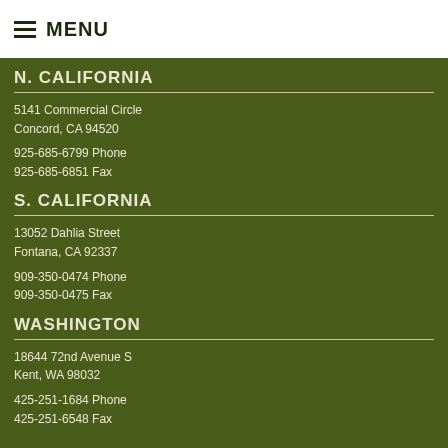MENU
N. CALIFORNIA
5141 Commercial Circle
Concord, CA 94520
925-685-6799 Phone
925-685-6851 Fax
S. CALIFORNIA
13052 Dahlia Street
Fontana, CA 92337
909-350-0474 Phone
909-350-0475 Fax
WASHINGTON
18644 72nd Avenue S
Kent, WA 98032
425-251-1684 Phone
425-251-6548 Fax